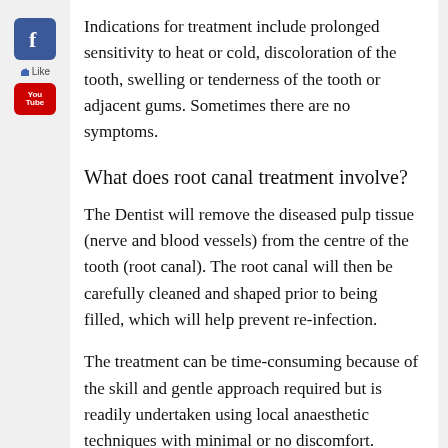[Figure (logo): Facebook icon (blue square with white 'f'), Like text, and YouTube icon (red rectangle with 'You Tube' text)]
Indications for treatment include prolonged sensitivity to heat or cold, discoloration of the tooth, swelling or tenderness of the tooth or adjacent gums. Sometimes there are no symptoms.
What does root canal treatment involve?
The Dentist will remove the diseased pulp tissue (nerve and blood vessels) from the centre of the tooth (root canal). The root canal will then be carefully cleaned and shaped prior to being filled, which will help prevent re-infection.
The treatment can be time-consuming because of the skill and gentle approach required but is readily undertaken using local anaesthetic techniques with minimal or no discomfort. Sometimes the dental